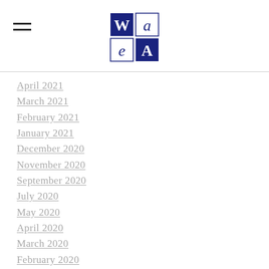[Figure (logo): WaeA organization logo — blue/navy square tiles with letters W, a, e, A]
April 2021
March 2021
February 2021
January 2021
December 2020
November 2020
September 2020
July 2020
May 2020
April 2020
March 2020
February 2020
January 2020
November 2019
July 2019
June 2019